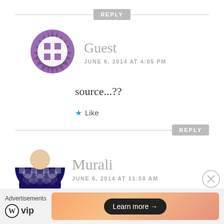[Figure (other): Reply button with horizontal lines on either side]
[Figure (illustration): Purple geometric avatar icon for Guest user]
Guest
JUNE 6, 2014 AT 4:05 PM
source...??
★ Like
[Figure (other): Reply button with horizontal line on left side]
[Figure (illustration): Dark purple geometric avatar icon for Murali user]
Murali
JUNE 6, 2014 AT 11:58 AM
Advertisements
[Figure (logo): WordPress VIP logo with circle W mark]
[Figure (other): Orange gradient advertisement banner with Learn more button]